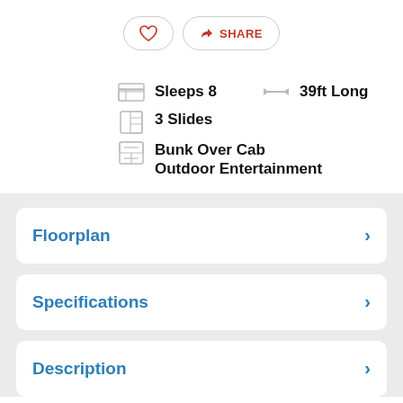[Figure (other): Heart (favorite) button and Share button row]
Sleeps 8
39ft Long
3 Slides
Bunk Over Cab
Outdoor Entertainment
Floorplan
Specifications
Description